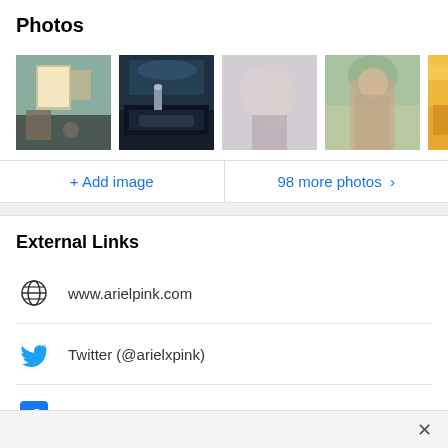Photos
[Figure (photo): Row of 5 photo thumbnails showing various scenes: indoor room with sunlight, person by a car at night, close-up blur portrait, person outdoors, and a partially visible colorful image]
+ Add image
98 more photos >
External Links
www.arielpink.com
Twitter (@arielxpink)
Facebook (arielxpink)